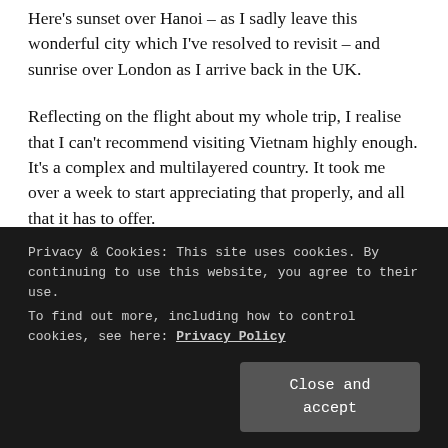Here's sunset over Hanoi – as I sadly leave this wonderful city which I've resolved to revisit – and sunrise over London as I arrive back in the UK.
Reflecting on the flight about my whole trip, I realise that I can't recommend visiting Vietnam highly enough. It's a complex and multilayered country. It took me over a week to start appreciating that properly, and all that it has to offer.
I'd love to go back to Vietnam and see the terraced fields in Sapa, the historic cities of Hoi An and Hué,
Privacy & Cookies: This site uses cookies. By continuing to use this website, you agree to their use.
To find out more, including how to control cookies, see here: Privacy Policy
Close and accept
fabulous and inspirational.